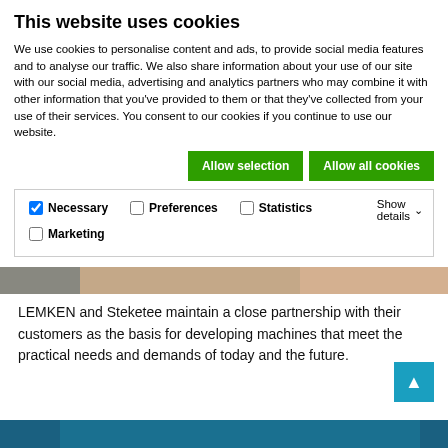This website uses cookies
We use cookies to personalise content and ads, to provide social media features and to analyse our traffic. We also share information about your use of our site with our social media, advertising and analytics partners who may combine it with other information that you've provided to them or that they've collected from your use of their services. You consent to our cookies if you continue to use our website.
[Figure (screenshot): Two green buttons: 'Allow selection' and 'Allow all cookies', followed by a row of cookie preference checkboxes (Necessary checked, Preferences, Statistics, Marketing unchecked) with a 'Show details' dropdown]
[Figure (photo): Partial photo strip showing hands/skin tones, likely agricultural or product imagery related to LEMKEN and Steketee]
LEMKEN and Steketee maintain a close partnership with their customers as the basis for developing machines that meet the practical needs and demands of today and the future.
[Figure (screenshot): Teal/blue up-arrow navigation button]
[Figure (photo): Bottom blue/teal strip, partial photo of agricultural scene]